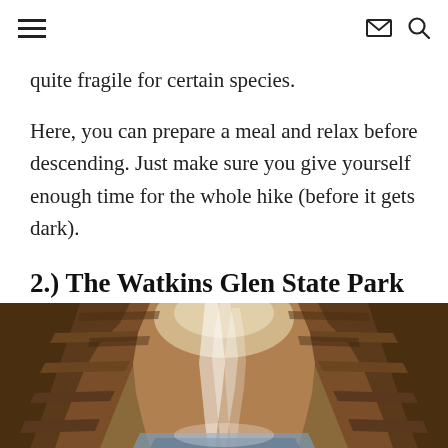≡  ✉ 🔍
quite fragile for certain species.
Here, you can prepare a meal and relax before descending. Just make sure you give yourself enough time for the whole hike (before it gets dark).
2.) The Watkins Glen State Park Gorge Trail
[Figure (photo): A dramatic gorge trail photo showing layered sandstone canyon walls with a waterfall and light streaming through the narrow gorge opening, with a stream at the bottom.]